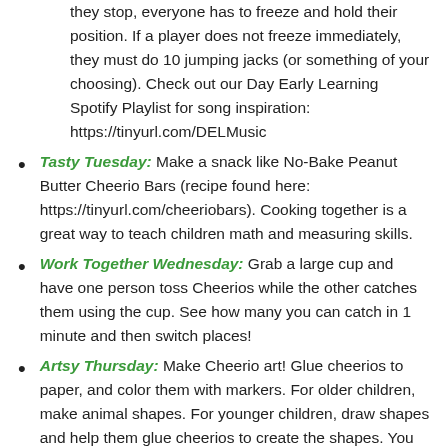they stop, everyone has to freeze and hold their position. If a player does not freeze immediately, they must do 10 jumping jacks (or something of your choosing). Check out our Day Early Learning Spotify Playlist for song inspiration: https://tinyurl.com/DELMusic
Tasty Tuesday: Make a snack like No-Bake Peanut Butter Cheerio Bars (recipe found here: https://tinyurl.com/cheeriobars). Cooking together is a great way to teach children math and measuring skills.
Work Together Wednesday: Grab a large cup and have one person toss Cheerios while the other catches them using the cup. See how many you can catch in 1 minute and then switch places!
Artsy Thursday: Make Cheerio art! Glue cheerios to paper, and color them with markers. For older children, make animal shapes. For younger children, draw shapes and help them glue cheerios to create the shapes. You can also draw your child's name and ask them to trace it with Cheerios. Another option is to make a Cheerio necklace. Find ribbon or string and have your child enhance their fine